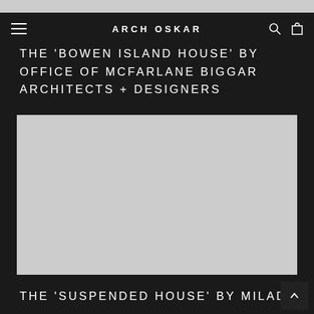ARCH OSKAR
THE 'BOWEN ISLAND HOUSE' BY OFFICE OF MCFARLANE BIGGAR ARCHITECTS + DESIGNERS
[Figure (photo): Large grey placeholder image representing an architectural photograph of the Bowen Island House]
THE 'SUSPENDED HOUSE' BY MILAD